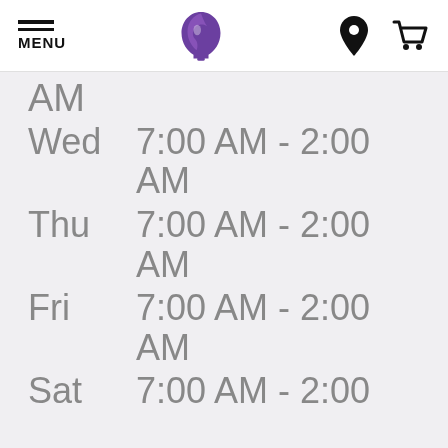MENU | Taco Bell Logo | Location | Cart
AM
Wed  7:00 AM - 2:00 AM
Thu  7:00 AM - 2:00 AM
Fri  7:00 AM - 2:00 AM
Sat  7:00 AM - 2:00